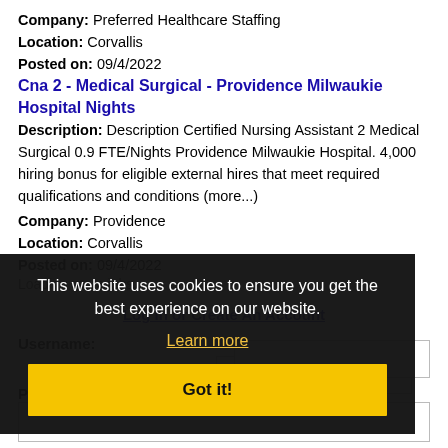Company: Preferred Healthcare Staffing
Location: Corvallis
Posted on: 09/4/2022
Cna 2 - Medical Surgical - Providence Milwaukie Hospital Nights
Description: Description Certified Nursing Assistant 2 Medical Surgical 0.9 FTE/Nights Providence Milwaukie Hospital. 4,000 hiring bonus for eligible external hires that meet required qualifications and conditions (more...)
Company: Providence
Location: Corvallis
Posted on: 09/4/2022
Loading more jobs...
This website uses cookies to ensure you get the best experience on our website.
Learn more
Got it!
Log In or Create An Account
Username:
Password: